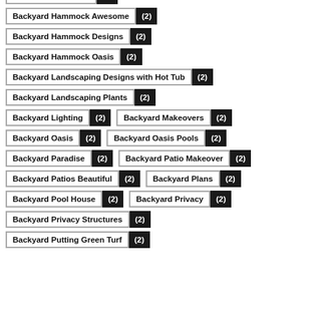Backyard Hammock (2)
Backyard Hammock Awesome (2)
Backyard Hammock Designs (2)
Backyard Hammock Oasis (2)
Backyard Landscaping Designs with Hot Tub (2)
Backyard Landscaping Plants (2)
Backyard Lighting (2)
Backyard Makeovers (2)
Backyard Oasis (2)
Backyard Oasis Pools (2)
Backyard Paradise (2)
Backyard Patio Makeover (2)
Backyard Patios Beautiful (2)
Backyard Plans (2)
Backyard Pool House (2)
Backyard Privacy (2)
Backyard Privacy Structures (2)
Backyard Putting Green Turf (2)